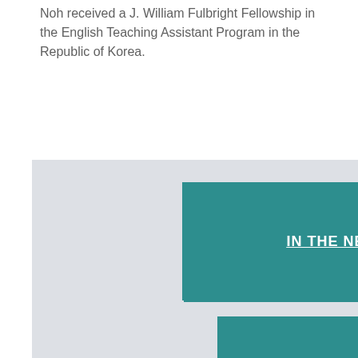Noh received a J. William Fulbright Fellowship in the English Teaching Assistant Program in the Republic of Korea.
[Figure (other): Gray background section containing three teal navigation buttons: IN THE NEWS, EVENTS, PUBLICATIONS, with a magenta BACK TO TOP button overlapping the bottom right.]